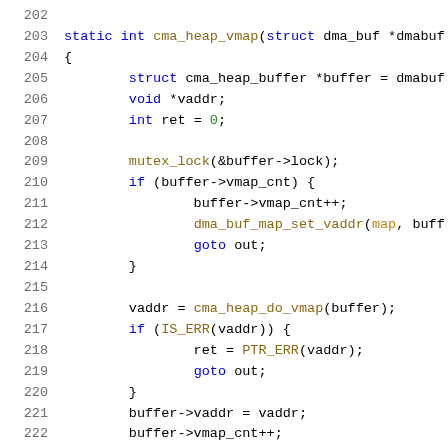[Figure (screenshot): Source code screenshot showing lines 202-222 of a C function cma_heap_vmap, with syntax highlighting. Line numbers in gray on the left, keywords in blue, function calls in brown/gold, variables in teal/dark, numbers in green.]